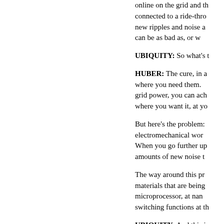online on the grid and then connected to a ride-through, new ripples and noise are introduced that can be as bad as, or wo
UBIQUITY: So what's t
HUBER: The cure, in a where you need them. grid power, you can ach where you want it, at yo
But here's the problem: electromechanical wor When you go further up amounts of new noise t
The way around this pr materials that are being microprocessor, at nan switching functions at th
UBIQUITY: And this is a
HUBER: Not at all. The silicon ◆-- ◆or eventu painting millions of logi and make it a power sw You make your wafer b